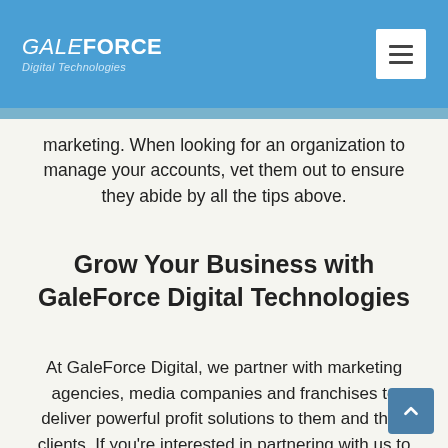GALEFORCE Digital Technologies
marketing. When looking for an organization to manage your accounts, vet them out to ensure they abide by all the tips above.
Grow Your Business with GaleForce Digital Technologies
At GaleForce Digital, we partner with marketing agencies, media companies and franchises to deliver powerful profit solutions to them and their clients. If you're interested in partnering with us to